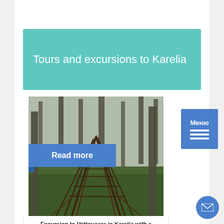Tours and excursions to Karelia
[Figure (screenshot): Menu button with Cyrillic text 'Меню' and three horizontal lines icon on blue background]
[Figure (photo): A teepee or hut structure made of sticks and branches in a forest with green moss ground cover]
Read more
Excursion to Vottovaara in Karelia with a shaman. Corporate tour
on request